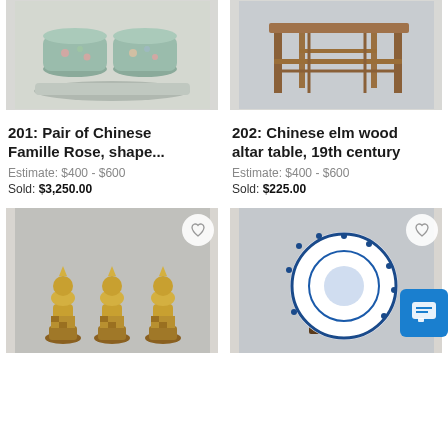[Figure (photo): Pair of Chinese Famille Rose shaped planters/pots on tray, light blue-green with floral decoration]
[Figure (photo): Chinese elm wood altar table, 19th century, brown wood with lattice stretcher]
201: Pair of Chinese Famille Rose, shape...
Estimate: $400 - $600
Sold: $3,250.00
202: Chinese elm wood altar table, 19th century
Estimate: $400 - $600
Sold: $225.00
[Figure (photo): Set of three gilt Buddhist figures/statues seated on lotus thrones with ornate bases]
[Figure (photo): Chinese blue and white porcelain plate with figural decoration, displayed on wooden stand]